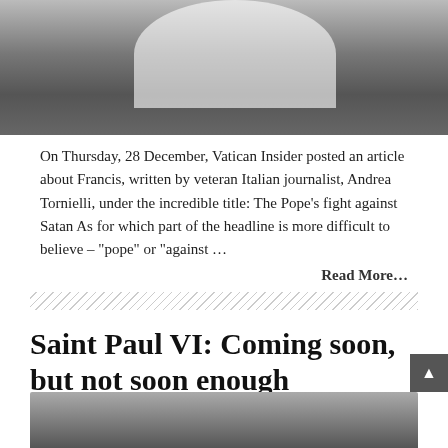[Figure (photo): A photo showing a person in white robes touching or blessing another person]
On Thursday, 28 December, Vatican Insider posted an article about Francis, written by veteran Italian journalist, Andrea Tornielli, under the incredible title: The Pope's fight against Satan As for which part of the headline is more difficult to believe – "pope" or "against …
Read More...
[Figure (other): Diagonal hatch divider pattern]
Saint Paul VI: Coming soon, but not soon enough
Louie   December 28, 2017   Blog Post   45 Comments
[Figure (photo): Bottom partial photo, content not visible]